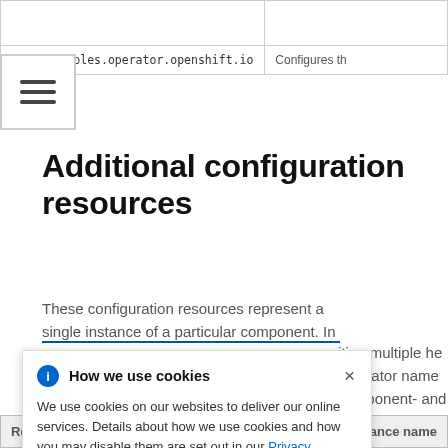|  |  |
| onfig.samples.operator.openshift.io | Configures th |
Additional configuration resources
These configuration resources represent a single instance of a particular component. In some cases,
[Figure (other): Cookie consent banner with title 'How we use cookies', info icon, close button, and text about cookie usage with a Privacy Statement link.]
| Resource name | Instance name |
| --- | --- |